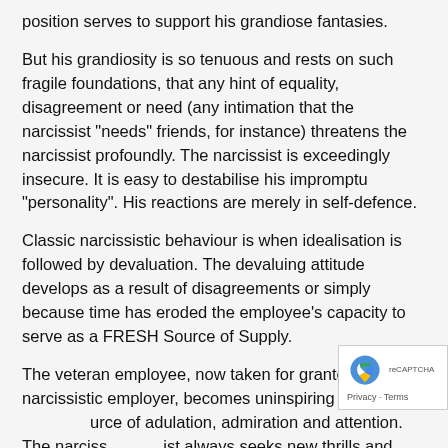position serves to support his grandiose fantasies.
But his grandiosity is so tenuous and rests on such fragile foundations, that any hint of equality, disagreement or need (any intimation that the narcissist "needs" friends, for instance) threatens the narcissist profoundly. The narcissist is exceedingly insecure. It is easy to destabilise his impromptu "personality". His reactions are merely in self-defence.
Classic narcissistic behaviour is when idealisation is followed by devaluation. The devaluing attitude develops as a result of disagreements or simply because time has eroded the employee's capacity to serve as a FRESH Source of Supply.
The veteran employee, now taken for granted by his narcissistic employer, becomes uninspiring as a source of adulation, admiration and attention. The narcissist always seeks new thrills and stimuli.